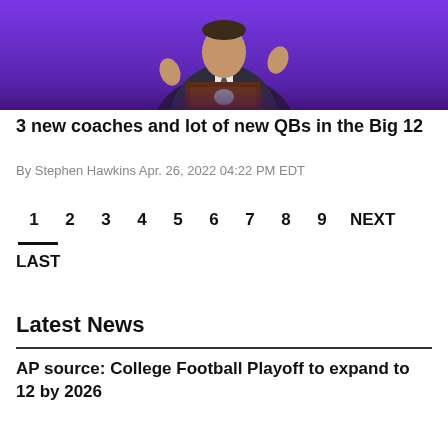[Figure (photo): A person in a dark suit standing at a dark wood podium with a purple background, gesturing with hands raised.]
3 new coaches and lot of new QBs in the Big 12
By Stephen Hawkins Apr. 26, 2022 04:22 PM EDT
1  2  3  4  5  6  7  8  9  NEXT
LAST
Latest News
AP source: College Football Playoff to expand to 12 by 2026